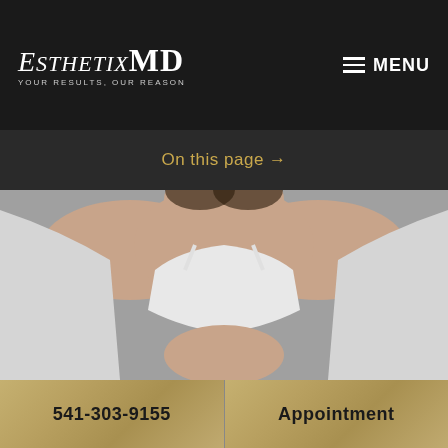[Figure (logo): EsthetixMD logo with tagline 'YOUR RESULTS, OUR REASON' on dark background]
MENU
On this page →
[Figure (photo): Woman in white sports bra and open white cardigan, torso/chest area shown against grey background]
541-303-9155
Appointment